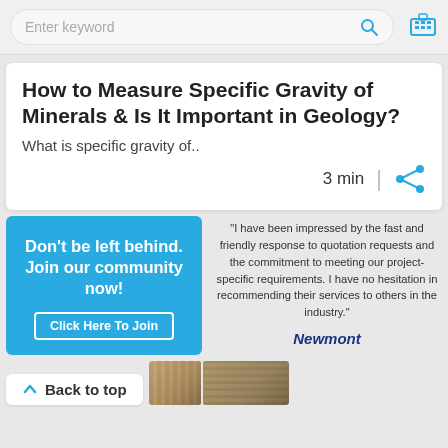Enter keyword
How to Measure Specific Gravity of Minerals & Is It Important in Geology?
What is specific gravity of..
3 min
[Figure (infographic): Don't be left behind. Join our community now! Click Here To Join — blue banner with call-to-action button]
"I have been impressed by the fast and friendly response to quotation requests and the commitment to meeting our project-specific requirements. I have no hesitation in recommending their services to others in the industry." Newmont
Back to top
[Figure (photo): Two photos of outdoor structures/gates at the bottom of the page]